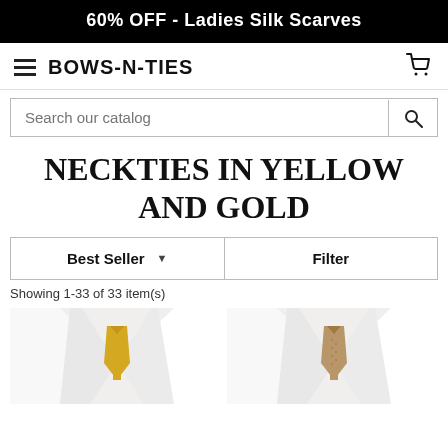60% OFF - Ladies Silk Scarves
BOWS-N-TIES
Search our catalog
NECKTIES IN YELLOW AND GOLD
Best Seller
Filter
Showing 1-33 of 33 item(s)
[Figure (photo): Two product photos of neckties on white shirt collar mannequin — left tie is yellow/gold solid, right tie is gold textured/patterned]
[Figure (photo): Gold textured necktie on white shirt collar mannequin]